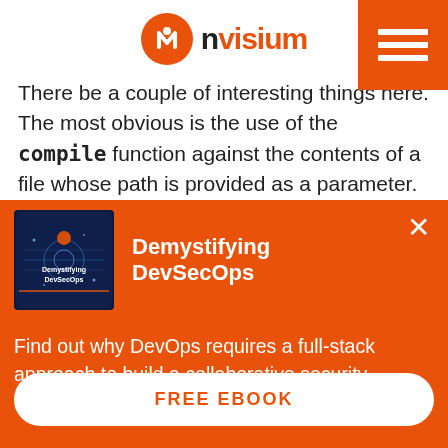nvisium [logo with hamburger menu]
There be a couple of interesting things here. The most obvious is the use of the compile function against the contents of a file whose path is provided as a parameter. This would come in
[Figure (screenshot): Orange popup overlay with book cover image for 'Demystifying DevSecOps' ebook, close button (x), description text, and FREE EBOOK button]
Demystifying DevSecOps
Find out why DevOps requires a full-stack approach to build a collaborative security culture.
FREE EBOOK